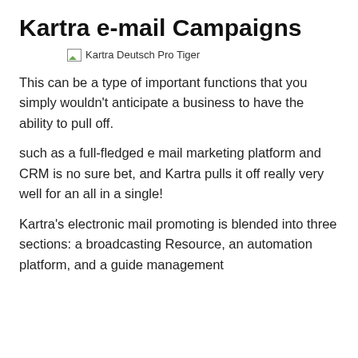Kartra e-mail Campaigns
[Figure (illustration): Broken image placeholder with alt text: Kartra Deutsch Pro Tiger]
This can be a type of important functions that you simply wouldn’t anticipate a business to have the ability to pull off.
such as a full-fledged e mail marketing platform and CRM is no sure bet, and Kartra pulls it off really very well for an all in a single!
Kartra’s electronic mail promoting is blended into three sections: a broadcasting Resource, an automation platform, and a guide management